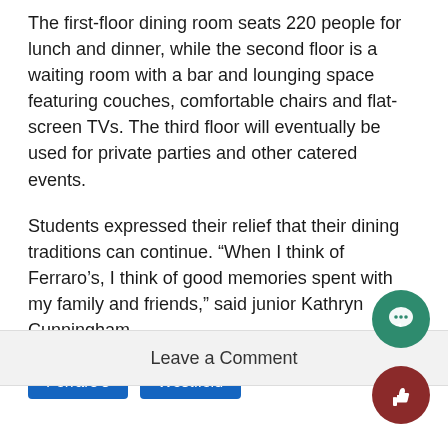The first-floor dining room seats 220 people for lunch and dinner, while the second floor is a waiting room with a bar and lounging space featuring couches, comfortable chairs and flat-screen TVs. The third floor will eventually be used for private parties and other catered events.
Students expressed their relief that their dining traditions can continue. “When I think of Ferraro’s, I think of good memories spent with my family and friends,” said junior Kathryn Cunningham.
Ferraro's
Westfield
Leave a Comment